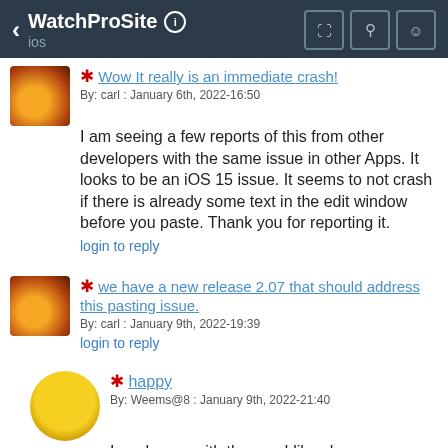WatchProSite ios
Wow It really is an immediate crash!
By: carl : January 6th, 2022-16:50
I am seeing a few reports of this from other developers with the same issue in other Apps. It looks to be an iOS 15 issue. It seems to not crash if there is already some text in the edit window before you paste. Thank you for reporting it.
login to reply
we have a new release 2.07 that should address this pasting issue.
By: carl : January 9th, 2022-19:39
login to reply
happy
By: Weems@8 : January 9th, 2022-21:40
I am happy with the app I like sharp square introduction pictures, but hey i can live with the rounded pictures. Not all is perfect, but that is a luxury problem.
login to reply